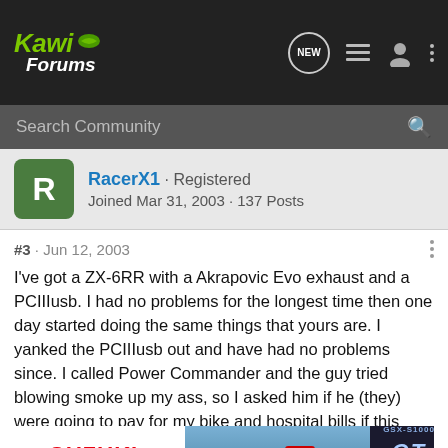[Figure (logo): Kawi Forums logo on dark navigation bar with icons for new posts, list, user profile, and more options]
Search Community
RacerX1 · Registered
Joined Mar 31, 2003 · 137 Posts
#3 · Jun 12, 2003
I've got a ZX-6RR with a Akrapovic Evo exhaust and a PCIIIusb. I had no problems for the longest time then one day started doing the same things that yours are. I yanked the PCIIIusb out and have had no problems since. I called Power Commander and the guy tried blowing smoke up my ass, so I asked him if he (they) were going to pay for my bike and hospital bills if this thing does it again when I'm at a trackday or in heavy traffic and get nailed. He then connected me to someone to get a return material authorization (RMA). I will get it out to [ad overlay] kind of stuff ha[d] [ad overlay] what
[Figure (photo): Suzuki GSX-S1000GT advertisement banner overlaying bottom of post]